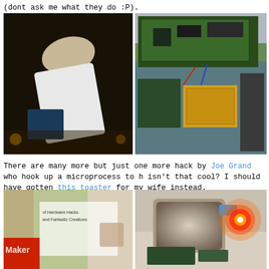(dont ask me what they do :P).
[Figure (photo): Person bent over a circuit board or device, dark background with warm tones]
[Figure (photo): Circuit boards and electronics spread out on a blue table at a maker fair]
There are many more but just one more hack by Joe Grand who hook up a microprocess to b isn't that cool? I should have gotten this toaster for my wife instead.
[Figure (photo): Maker fair booth sign with green and white display]
[Figure (photo): Toaster modified with microprocessor and glowing red light on a table with circuit boards]